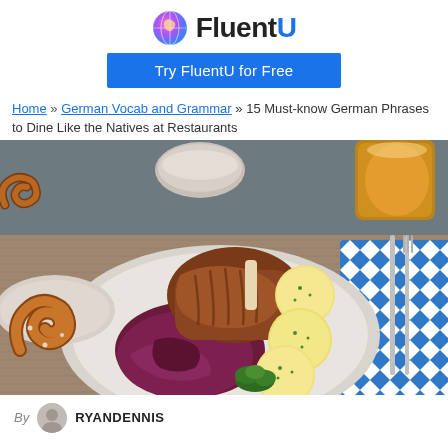FluentU — Try FluentU for Free
Home » German Vocab and Grammar » 15 Must-know German Phrases to Dine Like the Natives at Restaurants
[Figure (photo): A German meal on a plate: roasted pork knuckle, red cabbage, potato dumplings with chives, and a parsley garnish. Pretzels on a plate to the left, a beer mug in the background top right, and a blue-and-white Bavarian checkered napkin with silverware to the right.]
By RYANDENNIS